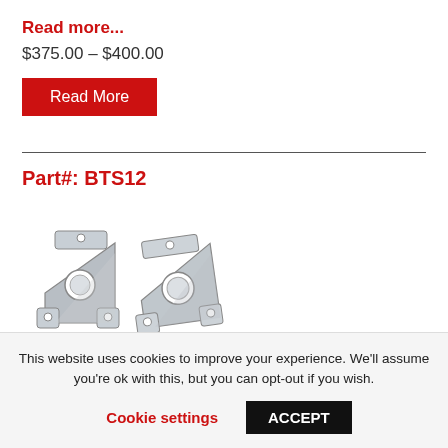Read more...
$375.00 – $400.00
Read More
Part#: BTS12
[Figure (photo): Two metal bracket/flange mounting parts (BTS12) shown side by side, triangular shaped with bolt holes at corners and a central circular bore.]
This website uses cookies to improve your experience. We'll assume you're ok with this, but you can opt-out if you wish.
Cookie settings
ACCEPT